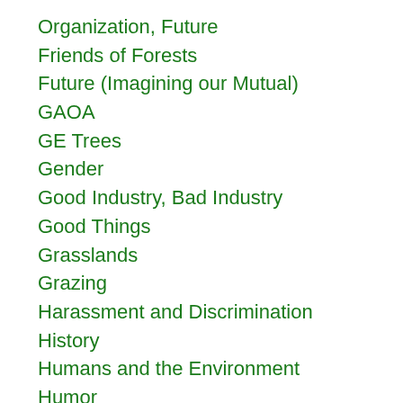Organization, Future
Friends of Forests
Future (Imagining our Mutual)
GAOA
GE Trees
Gender
Good Industry, Bad Industry
Good Things
Grasslands
Grazing
Harassment and Discrimination
History
Humans and the Environment
Humor
Infrastructure Bill